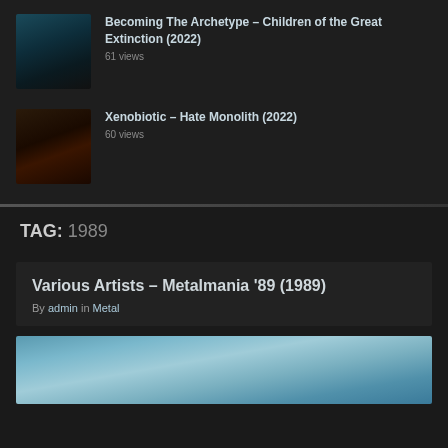Becoming The Archetype – Children of the Great Extinction (2022)
61 views
Xenobiotic – Hate Monolith (2022)
60 views
TAG: 1989
Various Artists – Metalmania '89 (1989)
By admin in Metal
[Figure (photo): Album cover art for Metalmania '89, showing a blue-toned abstract/artistic image]